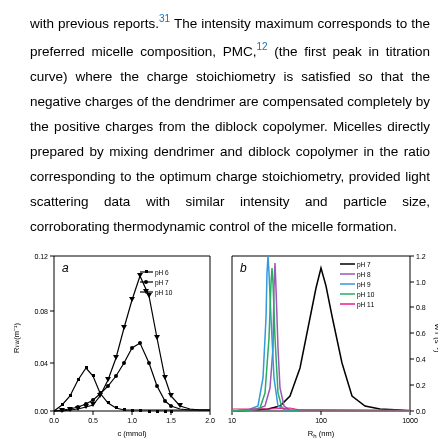with previous reports.31 The intensity maximum corresponds to the preferred micelle composition, PMC,12 (the first peak in titration curve) where the charge stoichiometry is satisfied so that the negative charges of the dendrimer are compensated completely by the positive charges from the diblock copolymer. Micelles directly prepared by mixing dendrimer and diblock copolymer in the ratio corresponding to the optimum charge stoichiometry, provided light scattering data with similar intensity and particle size, corroborating thermodynamic control of the micelle formation.
[Figure (line-chart): Panel a: Light scattering intensity Rvu(m-1) vs concentration c (mmol) for pH 6, pH 7, pH 10. Panel b: particle size distribution WT(s-1) vs R (nm) for pH 7, pH 8, pH 9, pH 10, pH 11.]